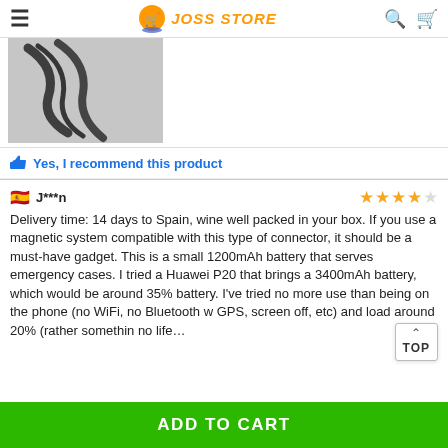JOSS STORE
[Figure (photo): Product photo showing black cable/connector on light background]
Yes, I recommend this product
J***n — 4 stars
Delivery time: 14 days to Spain, wine well packed in your box. If you use a magnetic system compatible with this type of connector, it should be a must-have gadget. This is a small 1200mAh battery that serves emergency cases. I tried a Huawei P20 that brings a 3400mAh battery, which would be around 35% battery. I've tried no more use than being on the phone (no WiFi, no Bluetooth w GPS, screen off, etc) and load around 20% (rather somethin no life…
ADD TO CART